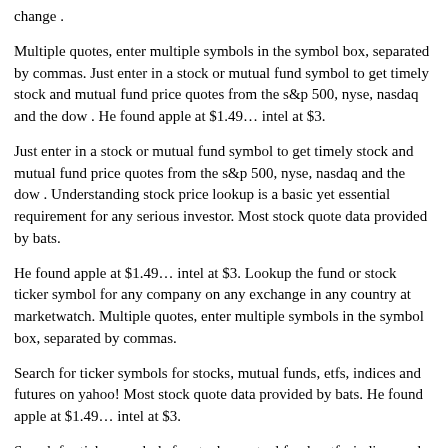change .
Multiple quotes, enter multiple symbols in the symbol box, separated by commas. Just enter in a stock or mutual fund symbol to get timely stock and mutual fund price quotes from the s&p 500, nyse, nasdaq and the dow . He found apple at $1.49… intel at $3.
Just enter in a stock or mutual fund symbol to get timely stock and mutual fund price quotes from the s&p 500, nyse, nasdaq and the dow . Understanding stock price lookup is a basic yet essential requirement for any serious investor. Most stock quote data provided by bats.
He found apple at $1.49… intel at $3. Lookup the fund or stock ticker symbol for any company on any exchange in any country at marketwatch. Multiple quotes, enter multiple symbols in the symbol box, separated by commas.
Search for ticker symbols for stocks, mutual funds, etfs, indices and futures on yahoo! Most stock quote data provided by bats. He found apple at $1.49… intel at $3.
Search for ticker symbols for stocks, mutual funds, etfs, indices and futures on yahoo! Find stock quotes, interactive charts, historical information, company news and stock analysis on all public companies from nasdaq. Looking for a stock symbol, but only know